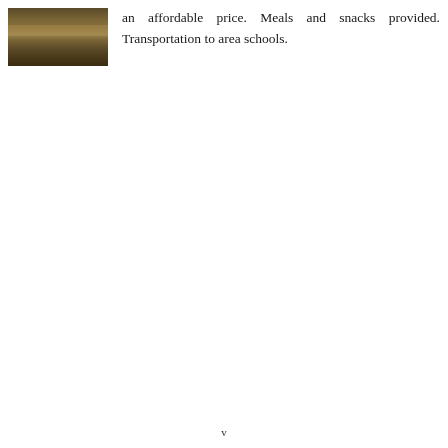[Figure (photo): Photograph showing what appears to be a wooden surface or building exterior, brownish tones]
an affordable price. Meals and snacks provided. Transportation to area schools.
v